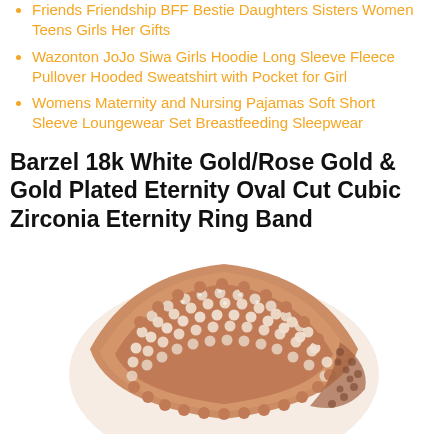Friends Friendship BFF Bestie Daughters Sisters Women Teens Girls Her Gifts
Wazonton JoJo Siwa Girls Hoodie Long Sleeve Fleece Pullover Hooded Sweatshirt with Pocket for Girl
Womens Maternity and Nursing Pajamas Soft Short Sleeve Loungewear Set Breastfeeding Sleepwear
Barzel 18k White Gold/Rose Gold & Gold Plated Eternity Oval Cut Cubic Zirconia Eternity Ring Band
[Figure (photo): Rose gold eternity ring band with cubic zirconia stones arranged in multiple rows, with beaded edges, shown at an angle on a white background.]